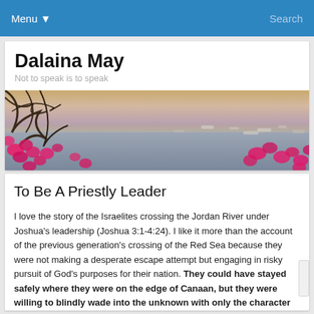Menu  Search
Dalaina May
Not to speak is to speak
[Figure (photo): Panoramic photo of a bay or harbor with pink flowering bougainvillea branches in the foreground and calm water with small boats in the background, warm golden-purple tones.]
To Be A Priestly Leader
I love the story of the Israelites crossing the Jordan River under Joshua's leadership (Joshua 3:1-4:24). I like it more than the account of the previous generation's crossing of the Red Sea because they were not making a desperate escape attempt but engaging in risky pursuit of God's purposes for their nation. They could have stayed safely where they were on the edge of Canaan, but they were willing to blindly wade into the unknown with only the character